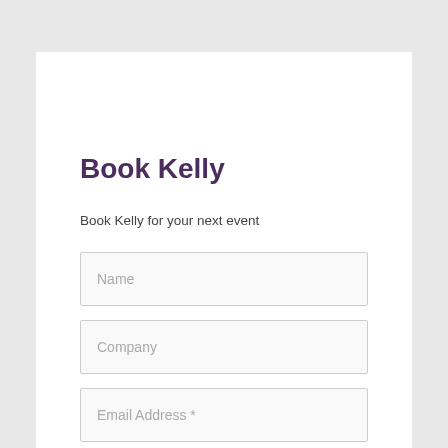Book Kelly
Book Kelly for your next event
Name
Company
Email Address *